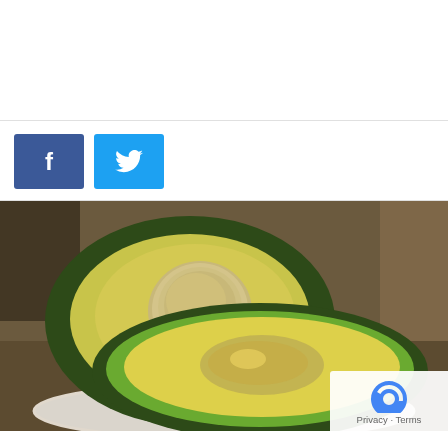[Figure (other): Facebook and Twitter social share buttons]
[Figure (photo): Two halves of an avocado cut open, showing the pit and yellow-green flesh, placed on a decorative plate on a wooden table. A reCAPTCHA privacy overlay appears in the bottom-right corner.]
What Happens When You Replace